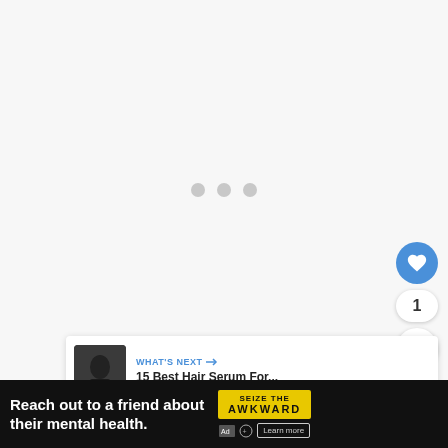[Figure (screenshot): Loading state with three grey dots centered on a light grey background area]
[Figure (infographic): UI elements: heart/like button (blue circle), count bubble showing 1, share button (white circle with share icon)]
[Figure (infographic): What's Next panel showing thumbnail image and text: WHAT'S NEXT → / 15 Best Hair Serum For...]
[Figure (screenshot): Advertisement banner: Reach out to a friend about their mental health. Learn more. SEIZE THE AWKWARD. Ad icons.]